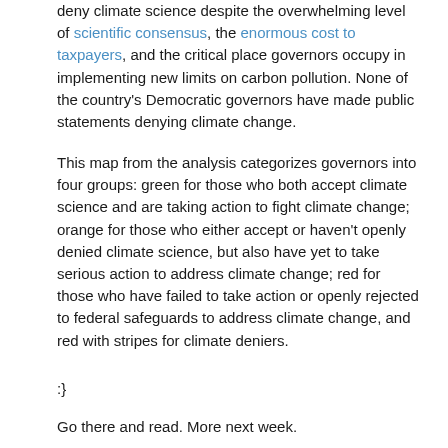deny climate science despite the overwhelming level of scientific consensus, the enormous cost to taxpayers, and the critical place governors occupy in implementing new limits on carbon pollution. None of the country's Democratic governors have made public statements denying climate change.
This map from the analysis categorizes governors into four groups: green for those who both accept climate science and are taking action to fight climate change; orange for those who either accept or haven't openly denied climate science, but also have yet to take serious action to address climate change; red for those who have failed to take action or openly rejected to federal safeguards to address climate change, and red with stripes for climate deniers.
:}
Go there and read. More next week.